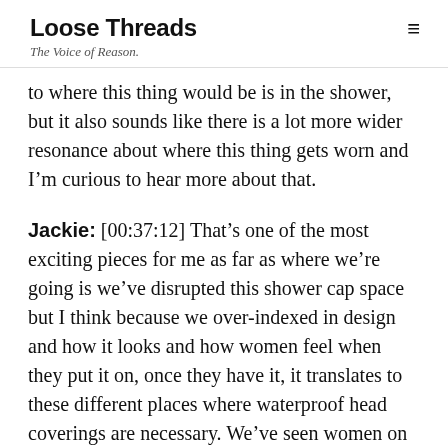Loose Threads — The Voice of Reason.
to where this thing would be is in the shower, but it also sounds like there is a lot more wider resonance about where this thing gets worn and I'm curious to hear more about that.
Jackie: [00:37:12] That's one of the most exciting pieces for me as far as where we're going is we've disrupted this shower cap space but I think because we over-indexed in design and how it looks and how women feel when they put it on, once they have it, it translates to these different places where waterproof head coverings are necessary. We've seen women on the subway wearing it on rainy days underneath their